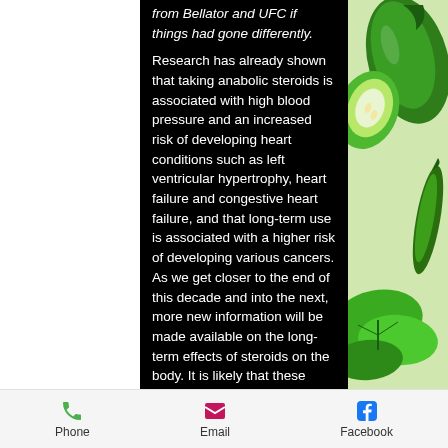from Bellator and UFC if things had gone differently.
Research has already shown that taking anabolic steroids is associated with high blood pressure and an increased risk of developing heart conditions such as left ventricular hypertrophy, heart failure and congestive heart failure, and that long-term use is associated with a higher risk of developing various cancers. As we get closer to the end of this decade and into the next, more new information will be made available on the long-term effects of steroids on the body. It is likely that these issues will be addressed as more and more data is available regarding the side effects of this common supplement.
Phone | Email | Facebook